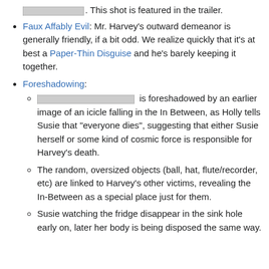[redacted]. This shot is featured in the trailer.
Faux Affably Evil: Mr. Harvey's outward demeanor is generally friendly, if a bit odd. We realize quickly that it's at best a Paper-Thin Disguise and he's barely keeping it together.
Foreshadowing:
[redacted] is foreshadowed by an earlier image of an icicle falling in the In Between, as Holly tells Susie that "everyone dies", suggesting that either Susie herself or some kind of cosmic force is responsible for Harvey's death.
The random, oversized objects (ball, hat, flute/recorder, etc) are linked to Harvey's other victims, revealing the In-Between as a special place just for them.
Susie watching the fridge disappear in the sink hole early on, later her body is being disposed the same way.